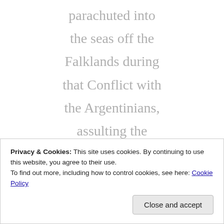parachuted into the seas off the Falklands during that Conflict with the Argentinians, assulting the Embassy from the back plus also signed by Pete Scholey (author of the Joker and SAS Heroes) who
Privacy & Cookies: This site uses cookies. By continuing to use this website, you agree to their use. To find out more, including how to control cookies, see here: Cookie Policy
Close and accept